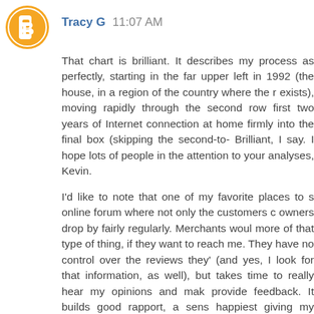[Figure (illustration): Orange circular avatar icon with white blogger 'B' logo]
Tracy G 11:07 AM
That chart is brilliant. It describes my process as perfectly, starting in the far upper left in 1992 (the house, in a region of the country where the r exists), moving rapidly through the second row first two years of Internet connection at home firmly into the final box (skipping the second-to- Brilliant, I say. I hope lots of people in the attention to your analyses, Kevin.
I'd like to note that one of my favorite places to s online forum where not only the customers c owners drop by fairly regularly. Merchants woul more of that type of thing, if they want to reach me. They have no control over the reviews they' (and yes, I look for that information, as well), but takes time to really hear my opinions and mak provide feedback. It builds good rapport, a sens happiest giving my money to someone I know.